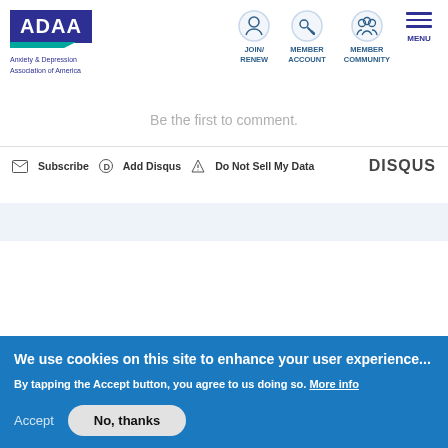[Figure (logo): ADAA logo with dark blue rectangle and teal accent, with tagline 'Anxiety & Depression Association of America']
[Figure (infographic): Navigation icons and labels: JOIN/RENEW, MEMBER ACCOUNT, MEMBER COMMUNITY, MENU]
Be the first to comment.
Subscribe  Add Disqus  Do Not Sell My Data  DISQUS
We use cookies on this site to enhance your user experience...
By tapping the Accept button, you agree to us doing so. More info
Accept
No, thanks